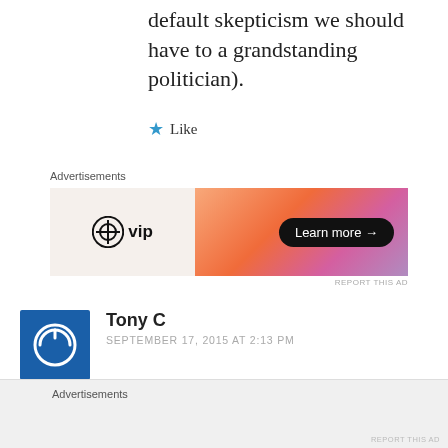default skepticism we should have to a grandstanding politician).
★ Like
Advertisements
[Figure (other): WordPress VIP advertisement banner with gradient orange-pink background and 'Learn more →' button]
REPORT THIS AD
[Figure (other): Blue square avatar with white power button icon for commenter Tony C]
Tony C
SEPTEMBER 17, 2015 AT 2:13 PM
LOL at the mention of him being a Pulitzer Prize winner somehow making it
Advertisements
REPORT THIS AD